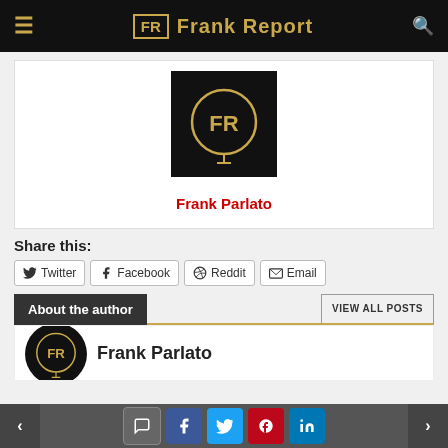Frank Report
[Figure (logo): Frank Report circular FR logo on black background]
Frank Parlato
Share this:
Twitter  Facebook  Reddit  Email
About the author  VIEW ALL POSTS
Frank Parlato
Navigation and social share icons bar